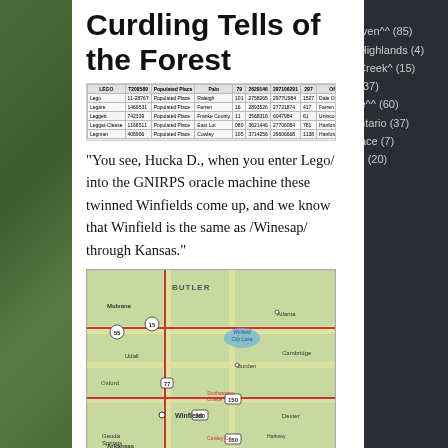Curdling Tells of the Forest
| LEGO | T209589 | Populated Place | Palo | 79 | 2629146 | 297106291 | 297 | Offutt | 27-MAY-1986 |
| --- | --- | --- | --- | --- | --- | --- | --- | --- | --- |
| Lego | 11-28767 | Populated Place | Raleigh | 101 | 2758265 | 2977U984 | 1527 | Dale Outland | 27-JUL-1986 |
| Legare | 1469531 | Populated Place | Farren | 16 | 2893526 | 27721874 | 417 | Farren | 26-SEP-1978 |
| Leggett | 742339 | Populated Place | Franke County | 11 | 3568316 | 6047984 | 61 | Unincorporated | 29-JUN-1982 |
| Leggat-Cleese | 1168511 | Populated Place | East Lot | 080 | 3621446 | 27706084 | 781 | Hanford | 09-MAY-1999 |
| Legman | 408966 | Populated Place | Cowley | 105 | 3714256 | 29606668 | 1138 | Hanford | 10-OCT-1978 |
“You see, Hucka D., when you enter Lego/ into the GNIRPS oracle machine these twinned Winfields come up, and we know that Winfield is the same as /Winesap/ through Kansas.”
[Figure (map): Road map of south-central Kansas showing Winfield area, including Butler County, Cowley County, routes 15, 55, 77, 150, 160, 360, towns including Mulvane, Oxford, Winfield, Arkansas City, Cambridge, Burden, Udall, and surrounding areas.]
(22)
Rose Heaven^^ (85)
Scotland Highlands (4)
Stranger Creek^ (15)
Teepot^^ (37)
The Waste^^ (60)
Wendy-Ontario (37)
White Palace (7)
Yaya Land (20)
Gaeta V^^